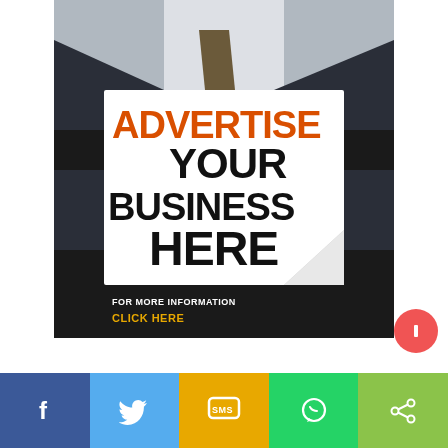[Figure (illustration): Advertisement image showing a businessman in a dark suit holding a white card that reads 'ADVERTISE YOUR BUSINESS HERE' with orange and black text, plus a call-to-action banner at bottom saying 'FOR MORE INFORMATION CLICK HERE']
[Figure (infographic): Social media sharing bar at the bottom with Facebook (blue), Twitter (light blue), SMS (yellow/gold), WhatsApp (green), and Share (light green) icons]